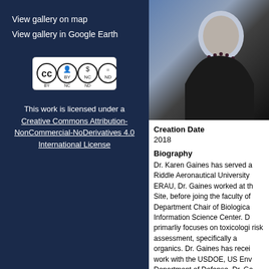View gallery on map
View gallery in Google Earth
[Figure (logo): Creative Commons BY-NC-ND license badge]
This work is licensed under a Creative Commons Attribution-NonCommercial-NoDerivatives 4.0 International License
[Figure (photo): Portrait photo of Dr. Karen Gaines, a woman in a dark blazer with a beaded necklace]
Creation Date
2018
Biography
Dr. Karen Gaines has served a Riddle Aeronautical University ERAU, Dr. Gaines worked at th Site, before joing the faculty of Department Chair of Biologica Information Science Center. D primarliy focuses on toxicologi risk assessment, specifically a organics. Dr. Gaines has recei work with the USDOE, US Env Department of Defense. Dr. Ga assessor, but also as an expe